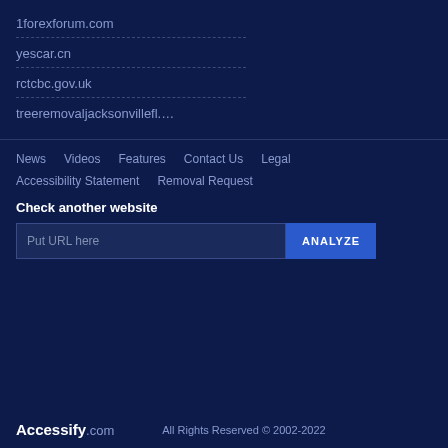1forexforum.com
yescar.cn
rctcbc.gov.uk
treeremovaljacksonvillefl.…
News   Videos   Features   Contact Us   Legal   Accessibility Statement   Removal Request
Check another website
Put URL here
ANALYZE
Accessify.com   All Rights Reserved © 2002-2022